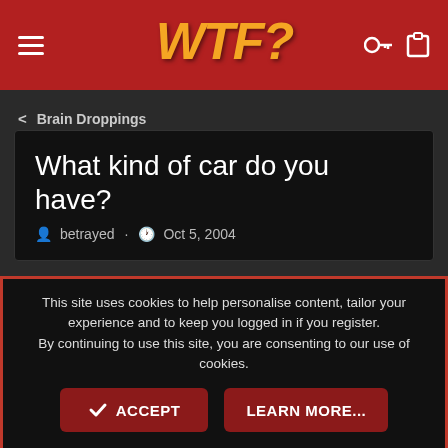WTF? - navigation header with hamburger menu and icons
< Brain Droppings
What kind of car do you have?
betrayed · Oct 5, 2004
betrayed
Banned - What an Asshat!
Oct 5, 2004
This site uses cookies to help personalise content, tailor your experience and to keep you logged in if you register.
By continuing to use this site, you are consenting to our use of cookies.
ACCEPT   LEARN MORE...